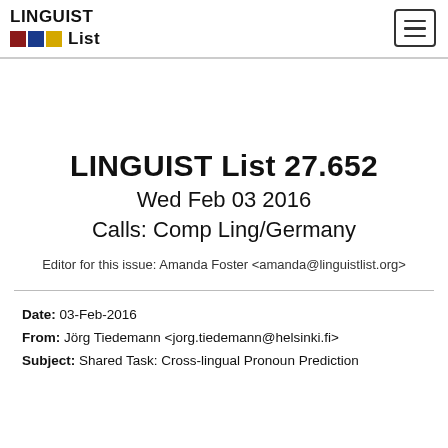LINGUIST List
LINGUIST List 27.652
Wed Feb 03 2016
Calls: Comp Ling/Germany
Editor for this issue: Amanda Foster <amanda@linguistlist.org>
Date: 03-Feb-2016
From: Jörg Tiedemann <jorg.tiedemann@helsinki.fi>
Subject: Shared Task: Cross-lingual Pronoun Prediction